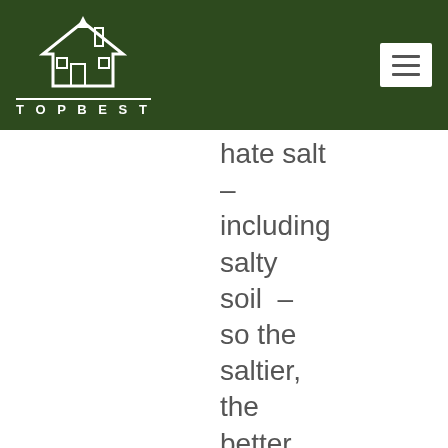TOPBEST
hate salt – including salty soil – so the saltier, the better. This is because salt dehydrates termites